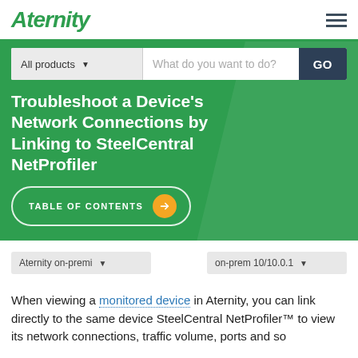Aternity
[Figure (screenshot): Search bar with 'All products' dropdown and 'What do you want to do?' input and GO button]
Troubleshoot a Device's Network Connections by Linking to SteelCentral NetProfiler
TABLE OF CONTENTS
Aternity on-premi ▼   on-prem 10/10.0.1 ▼
When viewing a monitored device in Aternity, you can link directly to the same device SteelCentral NetProfiler™ to view its network connections, traffic volume, ports and so